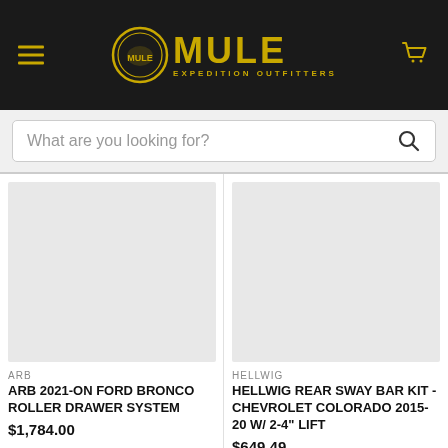MULE EXPEDITION OUTFITTERS
What are you looking for?
[Figure (photo): Product image placeholder for ARB 2021-ON Ford Bronco Roller Drawer System]
ARB
ARB 2021-ON FORD BRONCO ROLLER DRAWER SYSTEM
$1,784.00
[Figure (photo): Product image placeholder for Hellwig Rear Sway Bar Kit - Chevrolet Colorado 2015-20 W/ 2-4" Lift]
HELLWIG
HELLWIG REAR SWAY BAR KIT - CHEVROLET COLORADO 2015-20 W/ 2-4" LIFT
$649.49